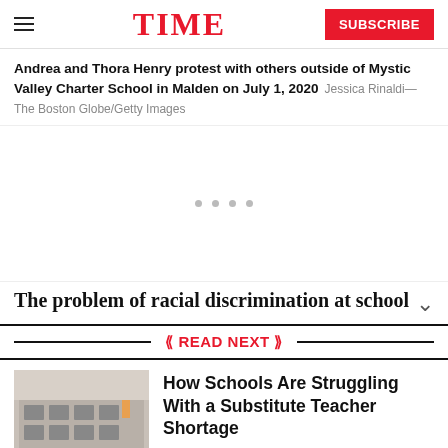TIME
Andrea and Thora Henry protest with others outside of Mystic Valley Charter School in Malden on July 1, 2020  Jessica Rinaldi—The Boston Globe/Getty Images
[Figure (photo): Gray placeholder area with three dots representing an image carousel/slideshow]
The problem of racial discrimination at schools...
READ NEXT
[Figure (photo): Thumbnail photo of a classroom with students at computers and a teacher standing]
How Schools Are Struggling With a Substitute Teacher Shortage